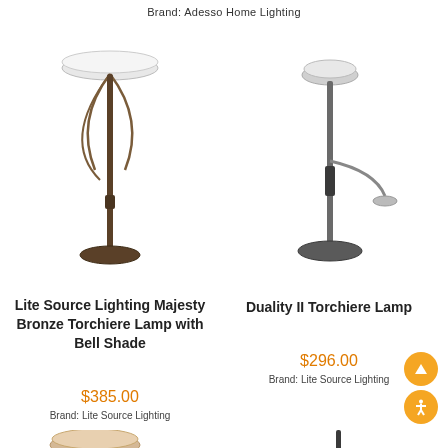Brand: Adesso Home Lighting
[Figure (photo): Lite Source Lighting Majesty Bronze Torchiere floor lamp with bell shade and decorative curved arms]
Lite Source Lighting Majesty Bronze Torchiere Lamp with Bell Shade
$385.00
Brand: Lite Source Lighting
[Figure (photo): Duality II Torchiere floor lamp with reading arm in chrome/dark finish]
Duality II Torchiere Lamp
$296.00
Brand: Lite Source Lighting
[Figure (photo): Partial view of a bronze torchiere floor lamp at bottom left]
[Figure (photo): Partial view of a multi-arm lamp with amber shades at bottom right]